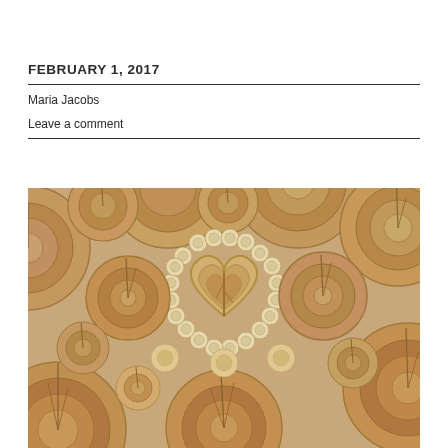FEBRUARY 1, 2017
Maria Jacobs
Leave a comment
[Figure (photo): Stacked wooden logs viewed from the end, with a heart shape made from smaller logs arranged in the center, surrounded by larger logs of varying sizes. Warm tan and brown tones.]